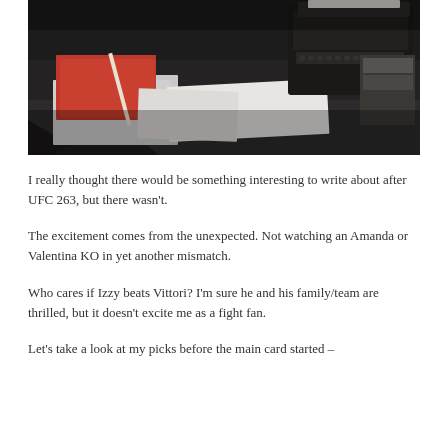[Figure (photo): A dark desk with a vintage typewriter in the upper right, a red notebook or folder on the left, loose papers scattered on the desk surface, dark moody tones.]
I really thought there would be something interesting to write about after UFC 263, but there wasn't.
The excitement comes from the unexpected. Not watching an Amanda or Valentina KO in yet another mismatch.
Who cares if Izzy beats Vittori? I'm sure he and his family/team are thrilled, but it doesn't excite me as a fight fan.
Let's take a look at my picks before the main card started –